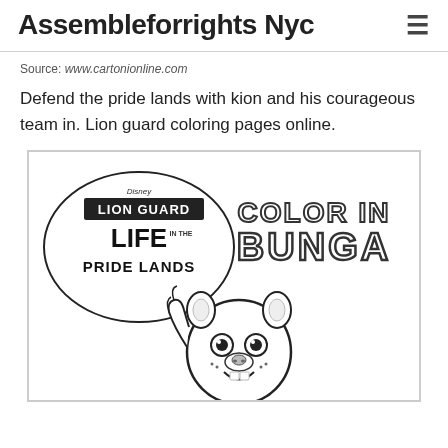Assembleforrights Nyc
Source: www.cartonionline.com
Defend the pride lands with kion and his courageous team in. Lion guard coloring pages online.
[Figure (illustration): Lion Guard Life in the Pride Lands coloring page featuring Bunga character with text 'COLOR IN BUNGA']